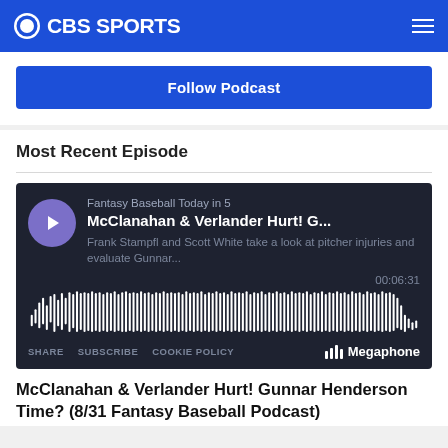CBS SPORTS
Follow Podcast
Most Recent Episode
[Figure (other): Podcast player widget with waveform for 'McClanahan & Verlander Hurt! G...' episode on Fantasy Baseball Today in 5. Duration 00:06:31. Powered by Megaphone.]
McClanahan & Verlander Hurt! Gunnar Henderson Time? (8/31 Fantasy Baseball Podcast)